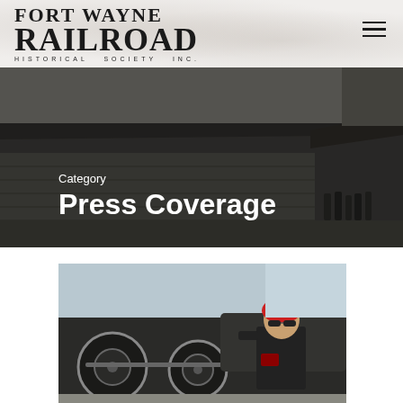[Figure (logo): Fort Wayne Railroad Historical Society Inc. logo in black serif text]
[Figure (photo): Black and white photo of a historic train station with people standing on the platform, used as hero banner background]
Category
Press Coverage
[Figure (photo): Color photo of a man wearing a red polka dot bandana and sunglasses, working near large locomotive wheels]